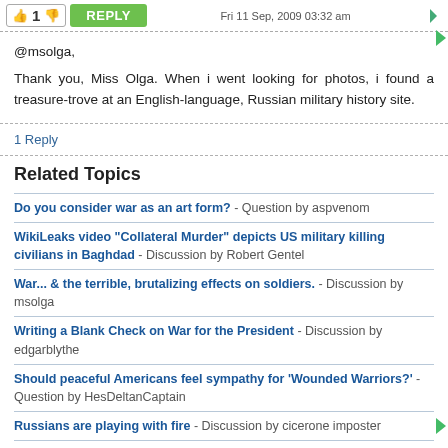Fri 11 Sep, 2009 03:32 am
@msolga,
Thank you, Miss Olga. When i went looking for photos, i found a treasure-trove at an English-language, Russian military history site.
1 Reply
Related Topics
Do you consider war as an art form? - Question by aspvenom
WikiLeaks video "Collateral Murder" depicts US military killing civilians in Baghdad - Discussion by Robert Gentel
War... & the terrible, brutalizing effects on soldiers. - Discussion by msolga
Writing a Blank Check on War for the President - Discussion by edgarblythe
Should peaceful Americans feel sympathy for 'Wounded Warriors?' - Question by HesDeltanCaptain
Russians are playing with fire - Discussion by cicerone imposter
Is There A Good Reason to NOT Obliterate Pyongyang With Nukes Right Now? - Discussion by...